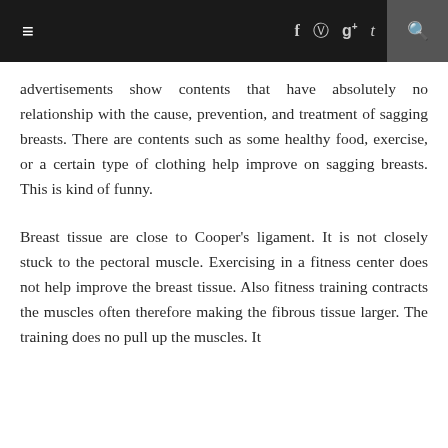≡  f  g+  t  🔍
advertisements show contents that have absolutely no relationship with the cause, prevention, and treatment of sagging breasts. There are contents such as some healthy food, exercise, or a certain type of clothing help improve on sagging breasts. This is kind of funny.
Breast tissue are close to Cooper's ligament. It is not closely stuck to the pectoral muscle. Exercising in a fitness center does not help improve the breast tissue. Also fitness training contracts the muscles often therefore making the fibrous tissue larger. The training does no pull up the muscles. It